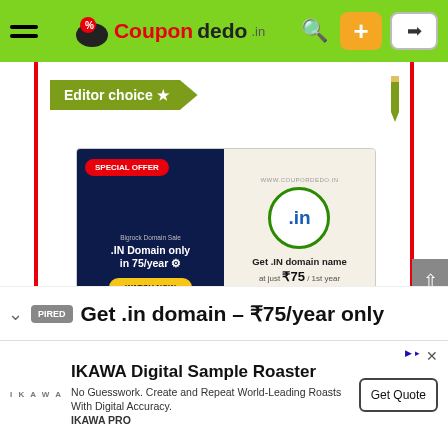Coupondedo.in — navigation bar with hamburger menu, logo, search, plus and login buttons
Editor choice ★
[Figure (screenshot): Bigrock Domain Sale advertisement. Left side dark blue background with SPECIAL OFFER badge, text 'Bigrock Domain Sale .IN Domain only in 75/year' and WATCH NOW button. Right side beige background with .IN domain badge, text 'Get .IN domain name at just ₹75 / 1st year'. URL www.coupordedo.in shown at top.]
Get .in domain – ₹75/year only
IKAWA Digital Sample Roaster
No Guesswork. Create and Repeat World-Leading Roasts With Digital Accuracy. IKAWA PRO